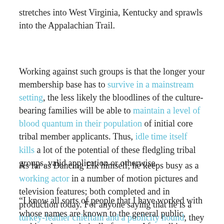stretches into West Virginia, Kentucky and sprawls into the Appalachian Trail.
Working against such groups is that the longer your membership base has to survive in a mainstream setting, the less likely the bloodlines of the culture-bearing families will be able to maintain a level of blood quantum in their population of initial core tribal member applicants. Thus, idle time itself kills a lot of the potential of these fledgling tribal groups, valid application or otherwise.
As far as Dancing Elk himself, he keeps busy as a working actor in a number of motion pictures and television features; both completed and in production today. For anyone saying that he is a turkey-feather chieftain and a publicity hound, they are missing the point.
“I know all sorts of people that I have worked with whose names are known to the general public, making them technically famous. After talking to them about the basics of some of these issues,